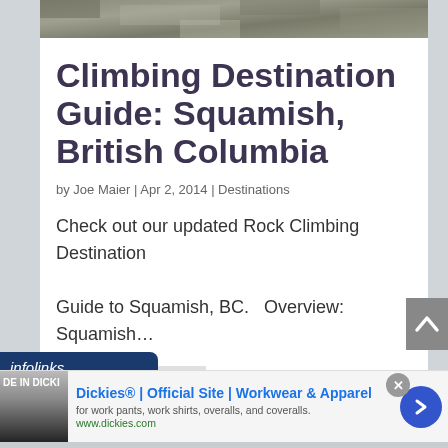[Figure (photo): Rocky cliff face / mountain rock texture photo strip at top of article card]
Climbing Destination Guide: Squamish, British Columbia
by Joe Maier | Apr 2, 2014 | Destinations
Check out our updated Rock Climbing Destination Guide to Squamish, BC.  Overview: Squamish…
READ MORE
[Figure (screenshot): Scroll-to-top button (grey box with upward caret arrow)]
infolinks
[Figure (infographic): Dickies advertisement banner: Dickies® | Official Site | Workwear & Apparel — for work pants, work shirts, overalls, and coveralls. www.dickies.com]